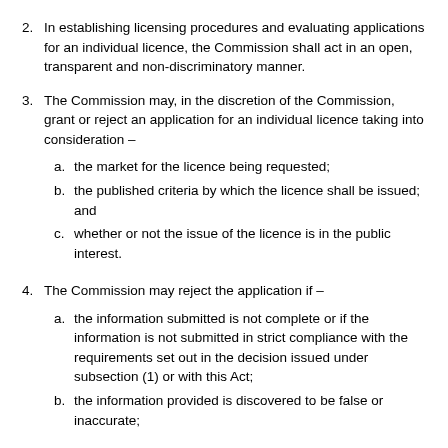2. In establishing licensing procedures and evaluating applications for an individual licence, the Commission shall act in an open, transparent and non-discriminatory manner.
3. The Commission may, in the discretion of the Commission, grant or reject an application for an individual licence taking into consideration –
  a. the market for the licence being requested;
  b. the published criteria by which the licence shall be issued; and
  c. whether or not the issue of the licence is in the public interest.
4. The Commission may reject the application if –
  a. the information submitted is not complete or if the information is not submitted in strict compliance with the requirements set out in the decision issued under subsection (1) or with this Act;
  b. the information provided is discovered to be false or inaccurate;